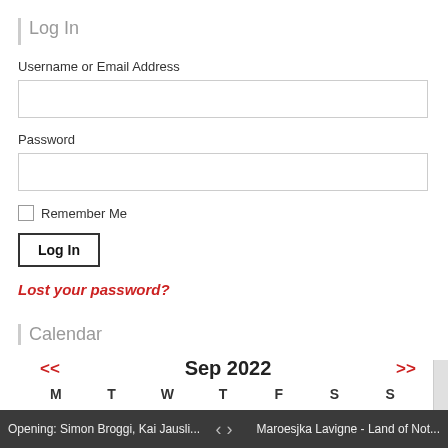Log In
Username or Email Address
Password
Remember Me
Log In
Lost your password?
Calendar
<< Sep 2022 >>
M  T  W  T  F  S  S
Opening: Simon Broggi, Kai Jausli...    <  >    Maroesjka Lavigne - Land of Not...